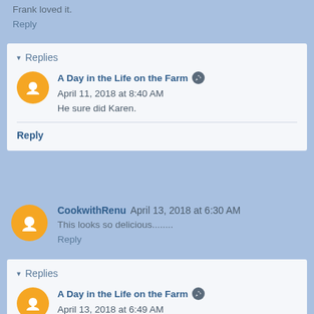Frank loved it.
Reply
Replies
A Day in the Life on the Farm  April 11, 2018 at 8:40 AM
He sure did Karen.
Reply
CookwithRenu  April 13, 2018 at 6:30 AM
This looks so delicious........
Reply
Replies
A Day in the Life on the Farm  April 13, 2018 at 6:49 AM